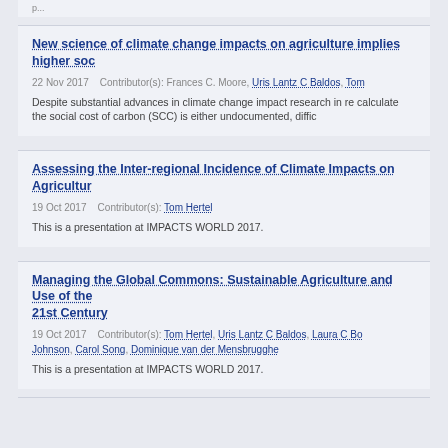New science of climate change impacts on agriculture implies higher soc...
22 Nov 2017    Contributor(s): Frances C. Moore, Uris Lantz C Baldos, Tom...
Despite substantial advances in climate change impact research in re... calculate the social cost of carbon (SCC) is either undocumented, diffi...
Assessing the Inter-regional Incidence of Climate Impacts on Agricultur...
19 Oct 2017    Contributor(s): Tom Hertel
This is a presentation at IMPACTS WORLD 2017.
Managing the Global Commons: Sustainable Agriculture and Use of the... 21st Century
19 Oct 2017    Contributor(s): Tom Hertel, Uris Lantz C Baldos, Laura C Bo... Johnson, Carol Song, Dominique van der Mensbrugghe
This is a presentation at IMPACTS WORLD 2017.